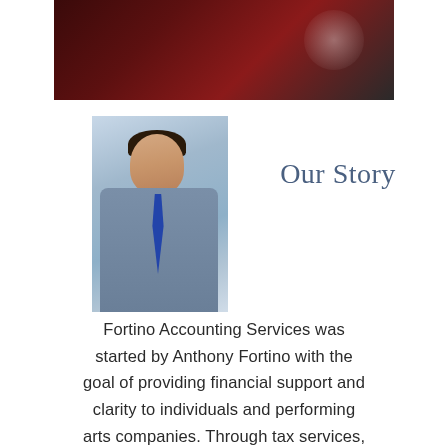[Figure (photo): Dark red/maroon abstract banner image at the top of the page]
[Figure (photo): Professional headshot of Anthony Fortino, a young man in a grey checked shirt and blue tie, smiling]
Our Story
Fortino Accounting Services was started by Anthony Fortino with the goal of providing financial support and clarity to individuals and performing arts companies. Through tax services, bookkeeping, budget preparation, and